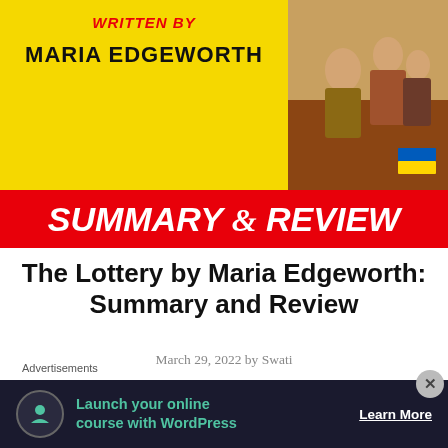[Figure (illustration): Book cover banner with yellow background. Top text 'WRITTEN BY' in red italic bold, author name 'MARIA EDGEWORTH' in bold black. Right side has a dark red/brown area with a painted illustration of historical figures and a Ukrainian flag graphic in bottom right. Red banner across bottom reads 'SUMMARY & REVIEW' in large white bold italic text.]
The Lottery by Maria Edgeworth: Summary and Review
March 29, 2022 by Swati
Did you know they had lotteries back in the 1800s? I didn't. So I was intrigued when I laid my eyes on The
Advertisements
[Figure (screenshot): Dark advertisement box: circular icon on left, green text 'Launch your online course with WordPress', white underlined 'Learn More' button on right.]